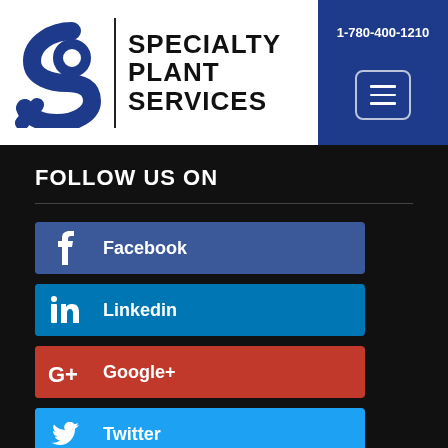[Figure (logo): Specialty Plant Services logo with stylized S icon and company name]
1-780-400-1210
FOLLOW US ON
Facebook
Linkedin
Google+
Twitter